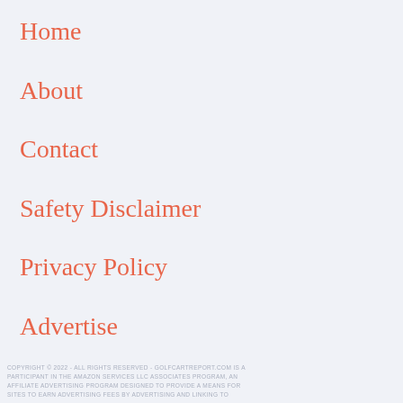Home
About
Contact
Safety Disclaimer
Privacy Policy
Advertise
COPYRIGHT © 2022 - ALL RIGHTS RESERVED - GOLFCARTREPORT.COM IS A PARTICIPANT IN THE AMAZON SERVICES LLC ASSOCIATES PROGRAM, AN AFFILIATE ADVERTISING PROGRAM DESIGNED TO PROVIDE A MEANS FOR SITES TO EARN ADVERTISING FEES BY ADVERTISING AND LINKING TO